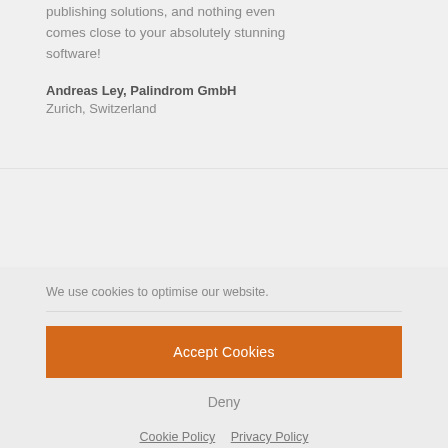publishing solutions, and nothing even comes close to your absolutely stunning software!
Andreas Ley, Palindrom GmbH
Zurich, Switzerland
We use cookies to optimise our website.
Accept Cookies
Deny
Cookie Policy   Privacy Policy